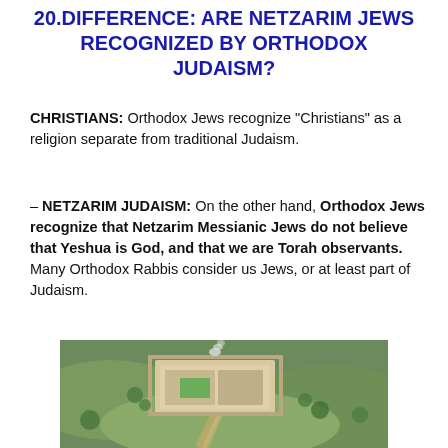20.DIFFERENCE: ARE NETZARIM JEWS RECOGNIZED BY ORTHODOX JUDAISM?
CHRISTIANS: Orthodox Jews recognize “Christians” as a religion separate from traditional Judaism.
– NETZARIM JUDAISM: On the other hand, Orthodox Jews recognize that Netzarim Messianic Jews do not believe that Yeshua is God, and that we are Torah observants. Many Orthodox Rabbis consider us Jews, or at least part of Judaism.
[Figure (photo): Aerial photograph of a large building complex surrounded by green fields and hilly terrain, with a road and smoke visible.]